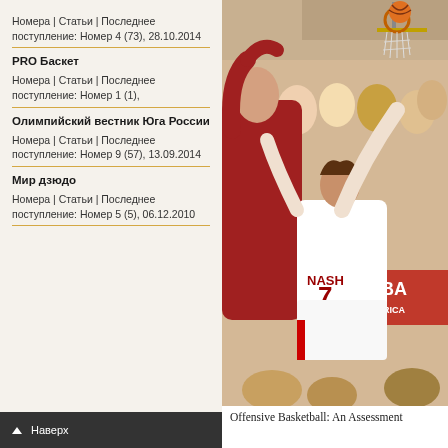Номера | Статьи | Последнее поступление: Номер 4 (73), 28.10.2014
PRO Баскет
Номера | Статьи | Последнее поступление: Номер 1 (1),
Олимпийский вестник Юга России
Номера | Статьи | Последнее поступление: Номер 9 (57), 13.09.2014
Мир дзюдо
Номера | Статьи | Последнее поступление: Номер 5 (5), 06.12.2010
Наверх
[Figure (photo): Basketball game photo showing player #7 NASH dunking, FIBA Americas tournament, crowd in background]
Offensive Basketball: An Assessment